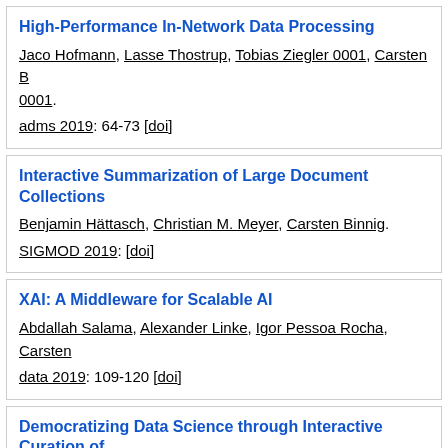High-Performance In-Network Data Processing. Jaco Hofmann, Lasse Thostrup, Tobias Ziegler 0001, Carsten B 0001. adms 2019: 64-73 [doi]
Interactive Summarization of Large Document Collections. Benjamin Hättasch, Christian M. Meyer, Carsten Binnig. SIGMOD 2019: [doi]
XAI: A Middleware for Scalable AI. Abdallah Salama, Alexander Linke, Igor Pessoa Rocha, Carsten... data 2019: 109-120 [doi]
Democratizing Data Science through Interactive Curation of... Zeyuan Shang, Emanuel Zgraggen, Benedetto Buratti, Ferdinand Eichmann, Yeounoh Chung, Carsten Binnig, Eli Upfal, Tim Krask... SIGMOD 2019: 1171-1188 [doi]